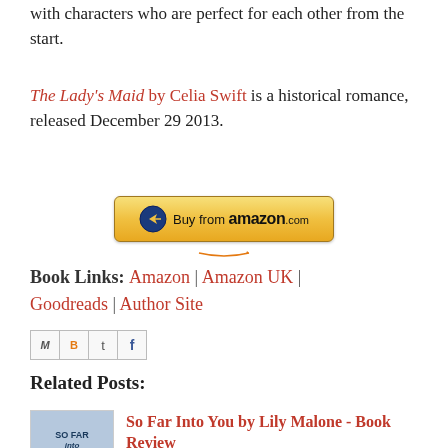with characters who are perfect for each other from the start.
The Lady's Maid by Celia Swift is a historical romance, released December 29 2013.
[Figure (other): Buy from amazon.com button — yellow gradient rectangular button with Amazon arrow logo and text 'Buy from amazon.com']
Book Links: Amazon | Amazon UK | Goodreads | Author Site
[Figure (other): Social sharing icons: email (M), Blogger (B), Twitter (t), Facebook (f)]
Related Posts:
So Far Into You by Lily Malone - Book Review